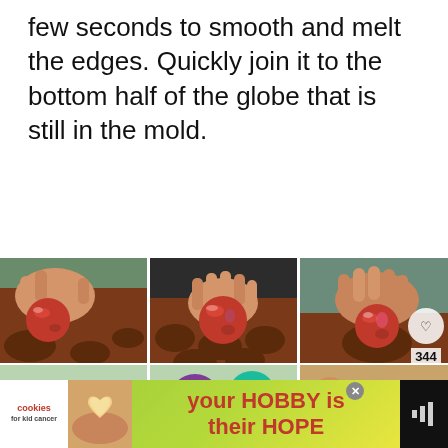Place the globe top onto the hot skillet for a few seconds to smooth and melt the edges. Quickly join it to the bottom half of the globe that is still in the mold.
[Figure (photo): Three-panel photo collage (top row) showing hands working with red chocolate globe halves and silicone molds with round cavities. Bottom row shows colorful (blue, purple, orange) chocolate spheres. Social media overlay with heart icon, share icon, count 344, and 'What's Next: Hot Chocolate Bombs' overlay visible.]
[Figure (photo): Ad banner: 'your HOBBY is their HOPE' with cookies logo and heart cookie image.]